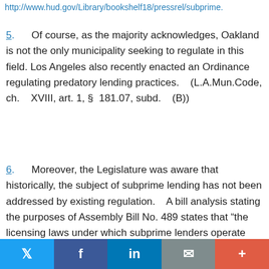http://www.hud.gov/Library/bookshelf18/pressrel/subprime.
5.    Of course, as the majority acknowledges, Oakland is not the only municipality seeking to regulate in this field.  Los Angeles also recently enacted an Ordinance regulating predatory lending practices.   (L.A.Mun.Code, ch.   XVIII, art. 1, §  181.07, subd.   (B))
6.    Moreover, the Legislature was aware that historically, the subject of subprime lending has not been addressed by existing regulation.   A bill analysis stating the purposes of Assembly Bill No. 489 states that “the licensing laws under which subprime lenders operate predate the development of the subprime market and therefore did not envision the types of problems that have arisen in this market.   In fact many real estate loans are specifically exempted from consumer protections in these laws.”  (Assem.  Com. on
Twitter  Facebook  in  Email  +